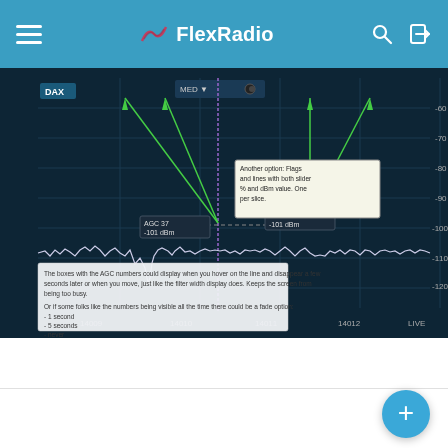FlexRadio
[Figure (screenshot): FlexRadio spectrum display screenshot showing radio frequency spectrum analyzer with AGC markers, green annotation lines, frequency labels (14009, 14010, 14011, 14012, LIVE), dBm scale on right (-60 to -130), DAX label, MED controls, AGC 37 -101 dBm and AGC 83 -101 dBm markers, callout boxes with text annotations about AGC display options and hover behavior]
Al_NN4ZZ  Loganville GA  Member  ★★★
January 2020  edited February 2020